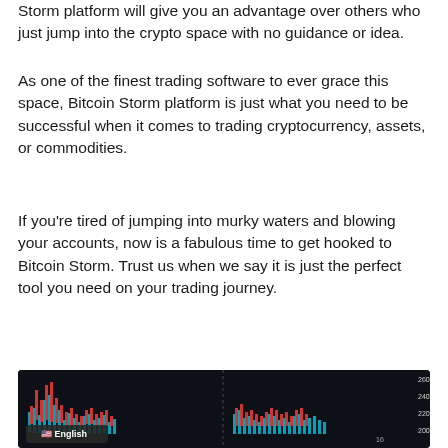Storm platform will give you an advantage over others who just jump into the crypto space with no guidance or idea.
As one of the finest trading software to ever grace this space, Bitcoin Storm platform is just what you need to be successful when it comes to trading cryptocurrency, assets, or commodities.
If you're tired of jumping into murky waters and blowing your accounts, now is a fabulous time to get hooked to Bitcoin Storm. Trust us when we say it is just the perfect tool you need on your trading journey.
[Figure (screenshot): A cryptocurrency trading chart interface showing candlestick/bar chart with red and teal bars on a dark background. Y-axis labels show 260.00, 240.00, 220.00, 200.00. An English language selector with US flag is visible at the bottom left. Gold Bitcoin coins are visible in the lower portion.]